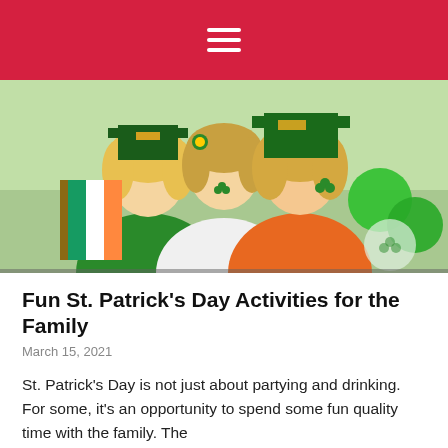≡
[Figure (photo): Three children smiling and celebrating St. Patrick's Day; the left child wears a leprechaun hat and green shirt and holds an Irish flag, the middle child wears a flower headband and white dress, and the right child wears a large green hat and orange shirt; green balloons and a clear balloon with shamrocks are visible in the background.]
Fun St. Patrick's Day Activities for the Family
March 15, 2021
St. Patrick's Day is not just about partying and drinking. For some, it's an opportunity to spend some fun quality time with the family. The
Read More »